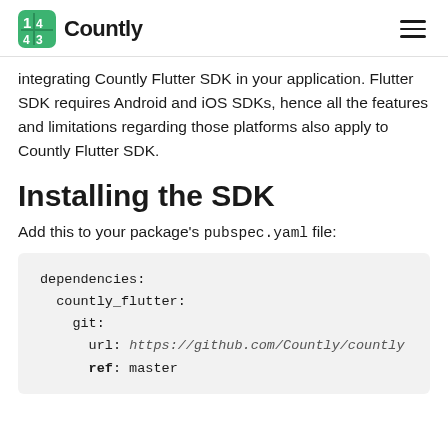Countly
integrating Countly Flutter SDK in your application. Flutter SDK requires Android and iOS SDKs, hence all the features and limitations regarding those platforms also apply to Countly Flutter SDK.
Installing the SDK
Add this to your package's pubspec.yaml file:
dependencies:
  countly_flutter:
    git:
      url: https://github.com/Countly/countly
      ref: master